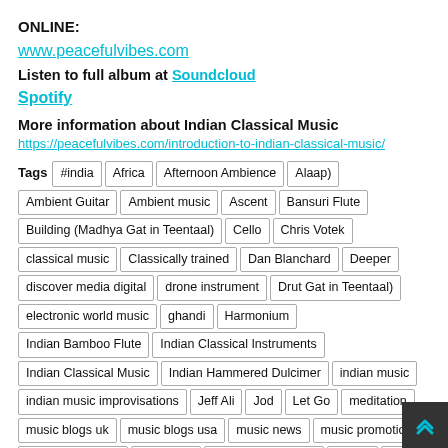ONLINE:
www.peacefulvibes.com
Listen to full album at Soundcloud
Spotify
More information about Indian Classical Music
https://peacefulvibes.com/introduction-to-indian-classical-music/
Tags: #india, Africa, Afternoon Ambience, Alaap), Ambient Guitar, Ambient music, Ascent, Bansuri Flute, Building (Madhya Gat in Teentaal), Cello, Chris Votek, classical music, Classically trained, Dan Blanchard, Deeper, discover media digital, drone instrument, Drut Gat in Teentaal), electronic world music, ghandi, Harmonium, Indian Bamboo Flute, Indian Classical Instruments, Indian Classical Music, Indian Hammered Dulcimer, indian music, indian music improvisations, Jeff Ali, Jod, Let Go, meditation, music blogs uk, music blogs usa, music news, music promotion, Neelamjit Dhillon, om shanti, Pandit Satish Vyas, peace, Rāga, Rāga Bhimpa…, Ronan Chris Murphy, Sanskrit, santoor, Sheela Bringi, spir…, Swaras, Swirling (Vilambit Gat in Jhaptaal), synthesizers, tabla